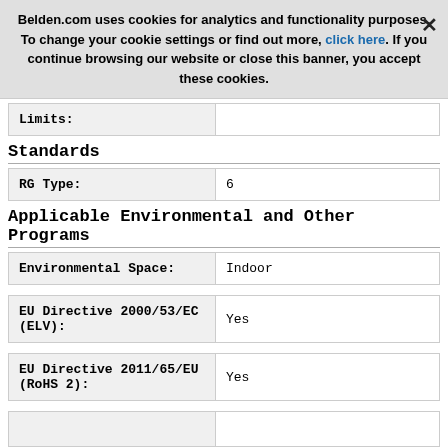Belden.com uses cookies for analytics and functionality purposes. To change your cookie settings or find out more, click here. If you continue browsing our website or close this banner, you accept these cookies.
Standards
|  |  |
| --- | --- |
| RG Type: | 6 |
Applicable Environmental and Other Programs
|  |  |
| --- | --- |
| Environmental Space: | Indoor |
| EU Directive 2000/53/EC (ELV): | Yes |
| EU Directive 2011/65/EU (RoHS 2): | Yes |